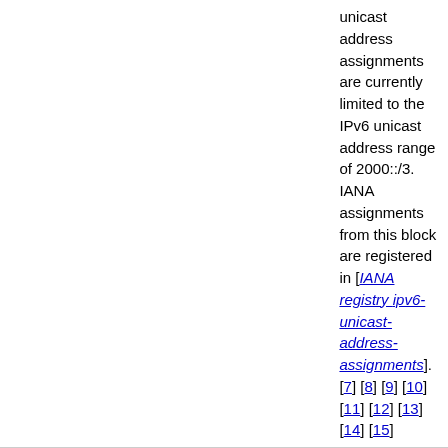| Prefix | Description | Reference | Notes |
| --- | --- | --- | --- |
|  |  |  | unicast address assignments are currently limited to the IPv6 unicast address range of 2000::/3. IANA assignments from this block are registered in [IANA registry ipv6-unicast-address-assignments]. [7] [8] [9] [10] [11] [12] [13] [14] [15] |
| 4000::/3 | Reserved by IETF | [RFC3513] [RFC4291] |  |
| 6000::/3 | Reserved by IETF | [RFC3513] [RFC4291] |  |
| 8000::/3 | Reserved by IETF | [RFC3513] [RFC4291] |  |
| a000::/3 | Reserved by IETF | [RFC3513] [RFC4291] |  |
| c000::/3 | Reserved by IETF | [RFC3513] [RFC4291] |  |
| e000::/4 | Reserved by IETF | [RFC3513] [RFC4291] |  |
| f000::/5 | Reserved | [RFC3513] |  |